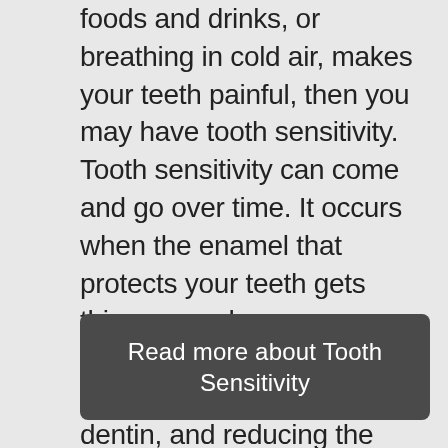foods and drinks, or breathing in cold air, makes your teeth painful, then you may have tooth sensitivity. Tooth sensitivity can come and go over time. It occurs when the enamel that protects your teeth gets thinner, or when gum recession occurs, exposing the underlying surface, the dentin, and reducing the protection the enamel and gums provide to the tooth and root.
Read more about Tooth Sensitivity